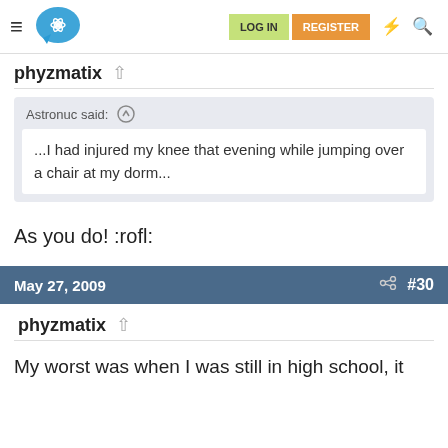LOG IN  REGISTER
phyzmatix
Astronuc said: ↑
...I had injured my knee that evening while jumping over a chair at my dorm...
As you do! :rofl:
May 27, 2009  #30
phyzmatix
My worst was when I was still in high school, it